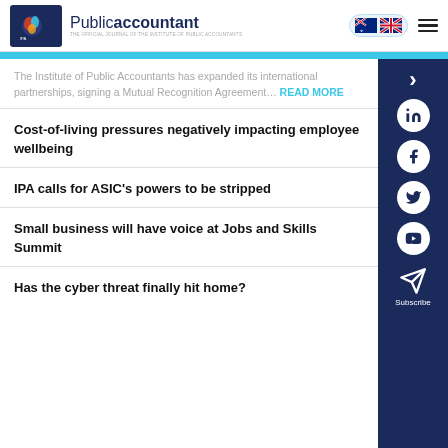Public accountant — THE OFFICIAL JOURNAL OF THE INSTITUTE OF PUBLIC ACCOUNTANTS
The Institute of Public Accountants has expanded its international partnerships, signing a Mutual Recognition Agreement… READ MORE
Cost-of-living pressures negatively impacting employee wellbeing
IPA calls for ASIC's powers to be stripped
Small business will have voice at Jobs and Skills Summit
Has the cyber threat finally hit home?